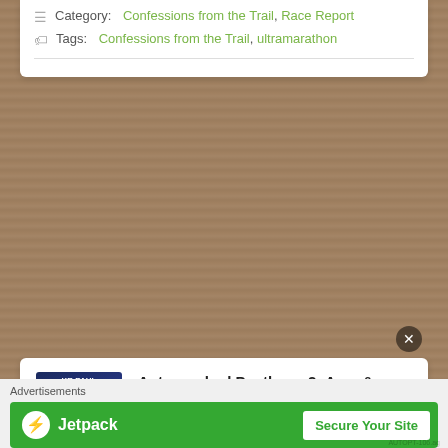Category: Confessions from the Trail, Race Report
Tags: Confessions from the Trail, ultramarathon
Autographed Pantheon 2: Ares & Athena paperback
[Figure (photo): Book cover of Pantheon 2: Ares & Athena by KR Paul, showing two superhero figures against a stormy sky background]
Author signed paperback of Pantheon 2: Ares & Athena.
$16.99, plus S&H
(Sorry, inernational orders must email
Advertisements
[Figure (screenshot): Jetpack advertisement banner with green background showing Jetpack logo and 'Secure Your Site' button]